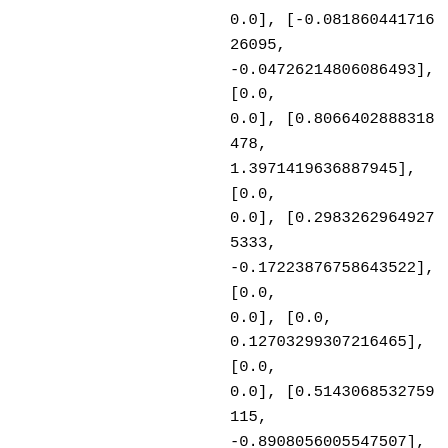0.0], [-0.08186044171626095, -0.04726214806086493], [0.0, 0.0], [0.8066402888318478, 1.3971419636887945], [0.0, 0.0], [0.29832629649275333, -0.17223876758643522], [0.0, 0.0], [0.0, 0.12703299307216465], [0.0, 0.0], [0.5143068532759115, -0.8908056005547507], [0.0, 0.0], [-0.27279434500877775, 0.0], [0.0, 0.0], [1.135037161374285, 0.0], [0.0, 0.0], [-0.15212157552963934, 0.26348229774476 18], [0.0, 0.0], [0.0, 0.15518283716339687], [0.0, 0.0], [0.606019144256213, -0.3498853160703912], [0.0,